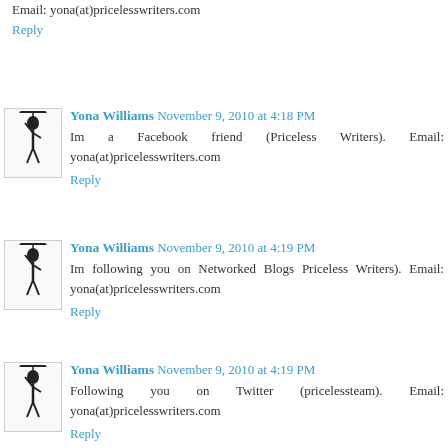Email: yona(at)pricelesswriters.com
Reply
Yona Williams  November 9, 2010 at 4:18 PM
Im a Facebook friend (Priceless Writers). Email: yona(at)pricelesswriters.com
Reply
Yona Williams  November 9, 2010 at 4:19 PM
Im following you on Networked Blogs Priceless Writers). Email: yona(at)pricelesswriters.com
Reply
Yona Williams  November 9, 2010 at 4:19 PM
Following you on Twitter (pricelessteam). Email: yona(at)pricelesswriters.com
Reply